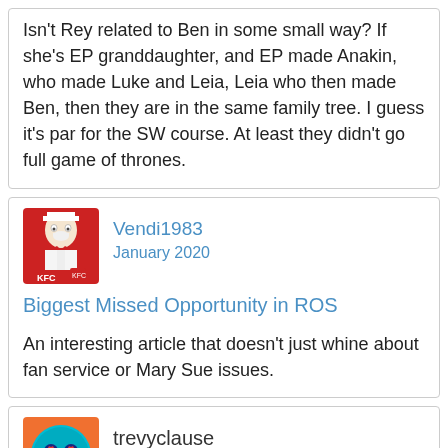Isn't Rey related to Ben in some small way? If she's EP granddaughter, and EP made Anakin, who made Luke and Leia, Leia who then made Ben, then they are in the same family tree. I guess it's par for the SW course. At least they didn't go full game of thrones.
[Figure (illustration): KFC Colonel Sanders avatar image for user Vendi1983]
Vendi1983
January 2020
Biggest Missed Opportunity in ROS
An interesting article that doesn't just whine about fan service or Mary Sue issues.
[Figure (illustration): Avatar with cyan circle and face/heart icons for user trevyclause]
trevyclause
January 2020
ly4oy4s wrote: »
show previous quotes
Isn't Rey related to Ben in some small way? If she's...